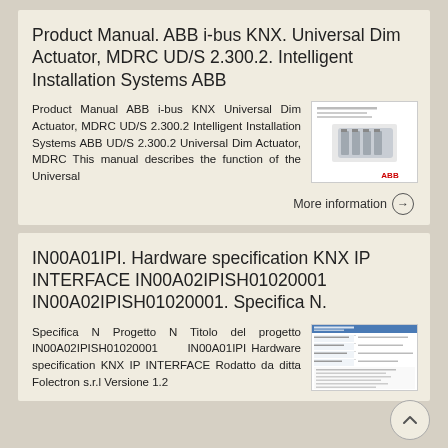Product Manual. ABB i-bus KNX. Universal Dim Actuator, MDRC UD/S 2.300.2. Intelligent Installation Systems ABB
Product Manual ABB i-bus KNX Universal Dim Actuator, MDRC UD/S 2.300.2 Intelligent Installation Systems ABB UD/S 2.300.2 Universal Dim Actuator, MDRC This manual describes the function of the Universal
[Figure (photo): Thumbnail image of ABB product manual cover showing a DIN rail mounted device with ABB logo in red]
More information →
IN00A01IPI. Hardware specification KNX IP INTERFACE IN00A02IPISH01020001 IN00A02IPISH01020001. Specifica N.
Specifica N Progetto N Titolo del progetto IN00A02IPISH01020001 IN00A01IPI Hardware specification KNX IP INTERFACE Rodatto da ditta Folectron s.r.l Versione 1.2
[Figure (screenshot): Thumbnail image of document with table/form layout showing hardware specification header]